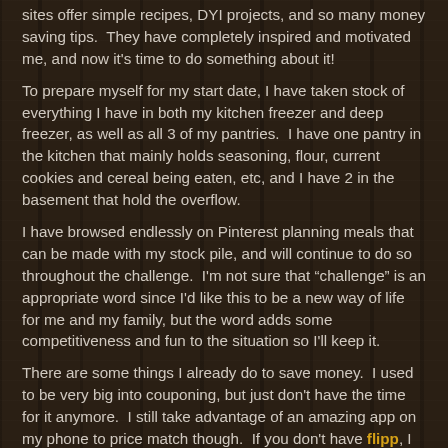sites offer simple recipes, DYI projects, and so many money saving tips.  They have completely inspired and motivated me, and now it's time to do something about it!
To prepare myself for my start date, I have taken stock of everything I have in both my kitchen freezer and deep freezer, as well as all 3 of my pantries.  I have one pantry in the kitchen that mainly holds seasoning, flour, current cookies and cereal being eaten, etc, and I have 2 in the basement that hold the overflow.
I have browsed endlessly on Pinterest planning meals that can be made with my stock pile, and will continue to do so throughout the challenge.  I'm not sure that "challenge" is an appropriate word since I'd like this to be a new way of life for me and my family, but the word adds some competitiveness and fun to the situation so I'll keep it.
There are some things I already do to save money.  I used to be very big into couponing, but just don't have the time for it anymore.  I still take advantage of an amazing app on my phone to price match though.  If you don't have flipp, I